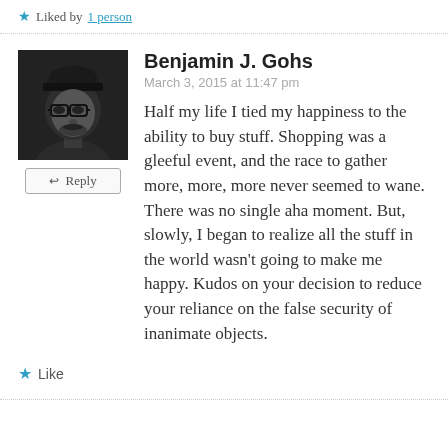★ Liked by 1 person
[Figure (photo): Black and white profile photo of a man wearing glasses and a cap, smiling]
Reply
Benjamin J. Gohs
March 3, 2015 at 11:47 pm
Half my life I tied my happiness to the ability to buy stuff. Shopping was a gleeful event, and the race to gather more, more, more never seemed to wane. There was no single aha moment. But, slowly, I began to realize all the stuff in the world wasn't going to make me happy. Kudos on your decision to reduce your reliance on the false security of inanimate objects.
★ Like